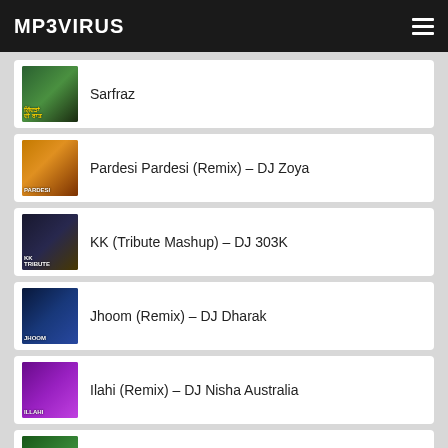MP3VIRUS
Sarfraz
Pardesi Pardesi (Remix) – DJ Zoya
KK (Tribute Mashup) – DJ 303K
Jhoom (Remix) – DJ Dharak
Ilahi (Remix) – DJ Nisha Australia
Ho Jaata Hai Kaise Pyar (Remix) – DJ Akhil Talreja x DJ MHD